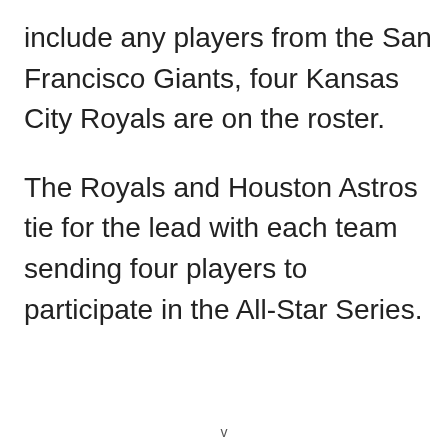include any players from the San Francisco Giants, four Kansas City Royals are on the roster.
The Royals and Houston Astros tie for the lead with each team sending four players to participate in the All-Star Series.
v